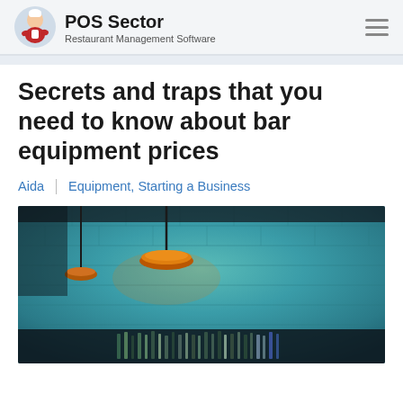POS Sector — Restaurant Management Software
Secrets and traps that you need to know about bar equipment prices
Aida | Equipment, Starting a Business
[Figure (photo): Interior of a bar with a teal textured stone wall, pendant lamps with orange/copper shades, and a bar counter lined with bottles in the lower portion of the image.]